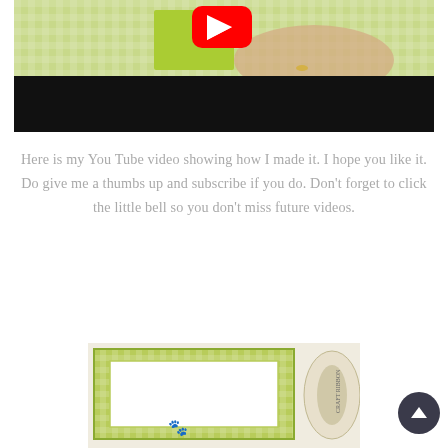[Figure (screenshot): YouTube video thumbnail showing hands working with green gingham paper and a lime green card, with YouTube play button visible, black video control bar at bottom]
Here is my You Tube video showing how I made it. I hope you like it. Do give me a thumbs up and subscribe if you do. Don't forget to click the little bell so you don't miss future videos.
[Figure (photo): Photo of a handmade card with green gingham pattern border and white center panel, placed next to a spool of ribbon]